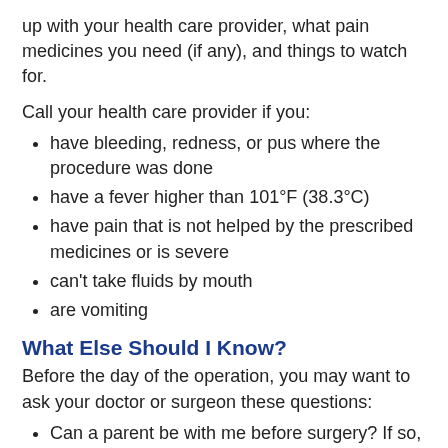up with your health care provider, what pain medicines you need (if any), and things to watch for.
Call your health care provider if you:
have bleeding, redness, or pus where the procedure was done
have a fever higher than 101°F (38.3°C)
have pain that is not helped by the prescribed medicines or is severe
can't take fluids by mouth
are vomiting
What Else Should I Know?
Before the day of the operation, you may want to ask your doctor or surgeon these questions:
Can a parent be with me before surgery? If so, for